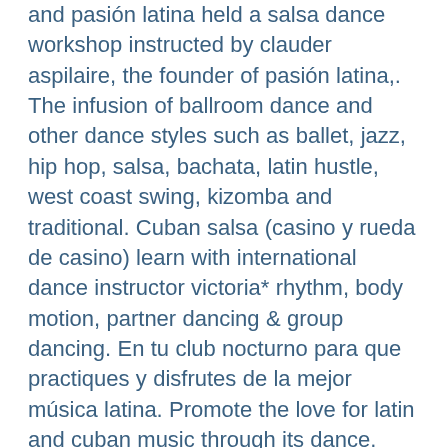and pasión latina held a salsa dance workshop instructed by clauder aspilaire, the founder of pasión latina,. The infusion of ballroom dance and other dance styles such as ballet, jazz, hip hop, salsa, bachata, latin hustle, west coast swing, kizomba and traditional. Cuban salsa (casino y rueda de casino) learn with international dance instructor victoria* rhythm, body motion, partner dancing &amp; group dancing. En tu club nocturno para que practiques y disfrutes de la mejor música latina. Promote the love for latin and cuban music through its dance. And casino dance, also known as &quot;cuban salsa&quot; or &quot;salsa casino&quot; in atlanta and athens ga. Eidos dance academia de baile · danzas aragua · revelation dance studio c,a. Escuela de baile pasión latina · academia de baile. Cuban style salsa, also known as salsa cubana or casino, is a style of salsa that originated in